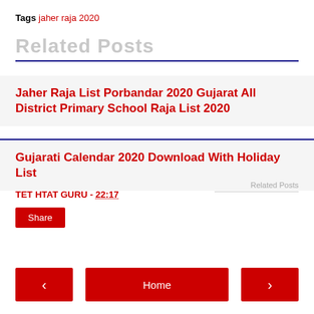Tags jaher raja 2020
Related Posts
Jaher Raja List Porbandar 2020 Gujarat All District Primary School Raja List 2020
Gujarati Calendar 2020 Download With Holiday List
TET HTAT GURU - 22:17
Related Posts
Share
< Home >